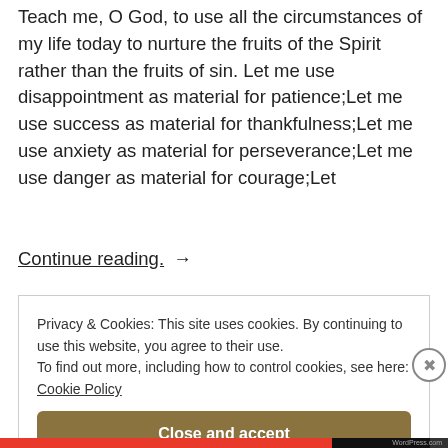Teach me, O God, to use all the circumstances of my life today to nurture the fruits of the Spirit rather than the fruits of sin. Let me use disappointment as material for patience;Let me use success as material for thankfulness;Let me use anxiety as material for perseverance;Let me use danger as material for courage;Let
Continue reading. →
Privacy & Cookies: This site uses cookies. By continuing to use this website, you agree to their use.
To find out more, including how to control cookies, see here: Cookie Policy
Close and accept